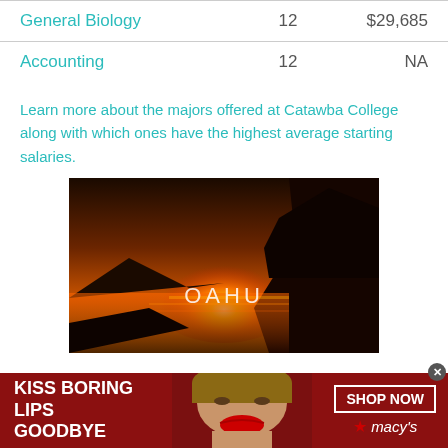| Major | Count | Salary |
| --- | --- | --- |
| General Biology | 12 | $29,685 |
| Accounting | 12 | NA |
Learn more about the majors offered at Catawba College along with which ones have the highest average starting salaries.
[Figure (photo): Sunset photo of OAHU with orange sky reflecting on water, rocky cliffs on the right side.]
[Figure (photo): Macy's advertisement banner: KISS BORING LIPS GOODBYE with a woman's face wearing red lipstick. SHOP NOW button and Macy's star logo on the right.]